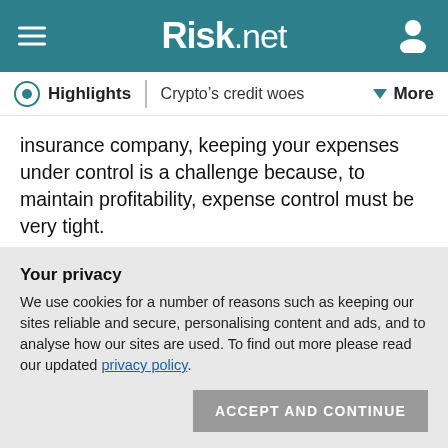Risk.net
Highlights | Crypto's credit woes | More
insurance company, keeping your expenses under control is a challenge because, to maintain profitability, expense control must be very tight.
And, now it sounds very simple, but it’s very easy for expenses to get out of control in any company. There is also an issue of competition for labour and specialised skills, such as accounting, finance and actuarial. So there will be areas that will put more pressure on the expenses, but
Your privacy
We use cookies for a number of reasons such as keeping our sites reliable and secure, personalising content and ads, and to analyse how our sites are used. To find out more please read our updated privacy policy.
ACCEPT AND CONTINUE